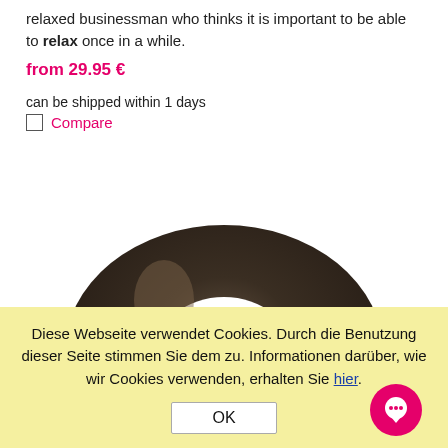relaxed businessman who thinks it is important to be able to relax once in a while.
from 29.95 €
can be shipped within 1 days
Compare
[Figure (photo): Top portion of a dark wooden ring or donut-shaped object against a white background]
Diese Webseite verwendet Cookies. Durch die Benutzung dieser Seite stimmen Sie dem zu. Informationen darüber, wie wir Cookies verwenden, erhalten Sie hier.